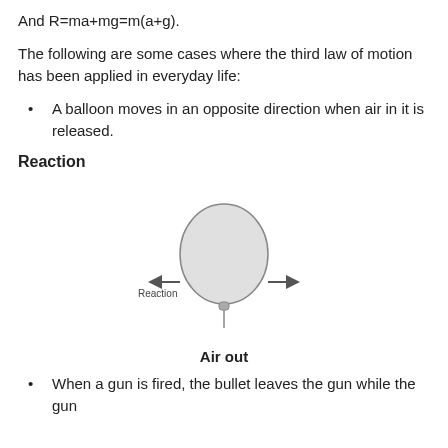And R=ma+mg=m(a+g).
The following are some cases where the third law of motion has been applied in everyday life:
A balloon moves in an opposite direction when air in it is released.
Reaction
[Figure (illustration): Diagram illustrating reaction force concept with a balloon releasing air, labeled 'Air out']
Air out
When a gun is fired, the bullet leaves the gun while the gun